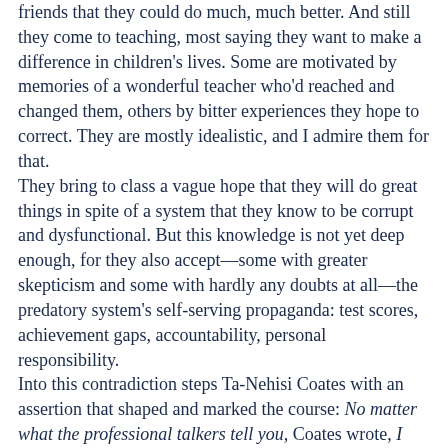friends that they could do much, much better. And still they come to teaching, most saying they want to make a difference in children's lives. Some are motivated by memories of a wonderful teacher who'd reached and changed them, others by bitter experiences they hope to correct. They are mostly idealistic, and I admire them for that.
They bring to class a vague hope that they will do great things in spite of a system that they know to be corrupt and dysfunctional. But this knowledge is not yet deep enough, for they also accept—some with greater skepticism and some with hardly any doubts at all—the predatory system's self-serving propaganda: test scores, achievement gaps, accountability, personal responsibility.
Into this contradiction steps Ta-Nehisi Coates with an assertion that shaped and marked the course: No matter what the professional talkers tell you, Coates wrote, I never met a black boy who wanted to fail. That simple observation—or was it an argument, a polemic, or an indictment?—led to hot debate on the evening we first opened the book, and those 18 words were still roiling the seminar as the term came to an end.
Coates never lets up, and he returns again and again: Fuck what you have heard or what you have seen in your son. He may lie about homework and laugh when the teacher calls home. He may